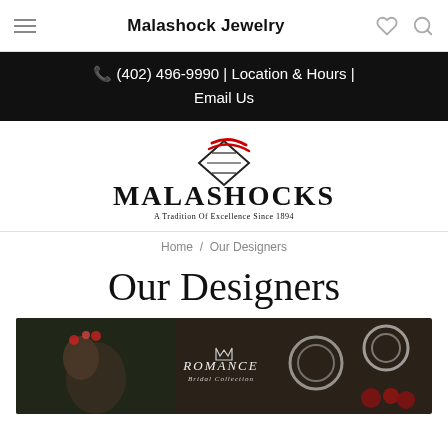Malashock Jewelry
☎ (402) 496-9990 | Location & Hours | Email Us
[Figure (logo): Malashocks jewelry logo — diamond shape with red swooshes above large text MALASHOCKS and tagline 'A Tradition Of Excellence Since 1894']
Home / Our Designers
Our Designers
[Figure (photo): Romance Bridal Collection advertisement showing couple kissing with flower crown, surrounded by diamond rings against a dark background with red roses]